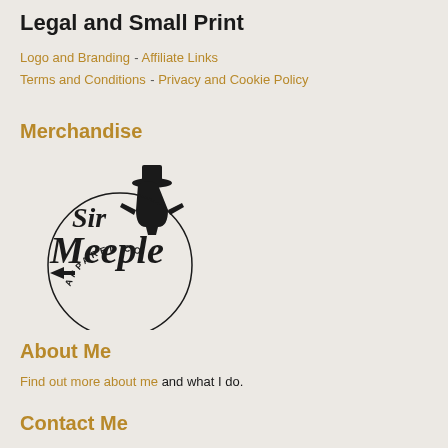Legal and Small Print
Logo and Branding - Affiliate Links
Terms and Conditions - Privacy and Cookie Policy
Merchandise
[Figure (logo): Sir Meeple Apparel Co logo — stylized script lettering with a meeple figure wearing a top hat]
About Me
Find out more about me and what I do.
Contact Me